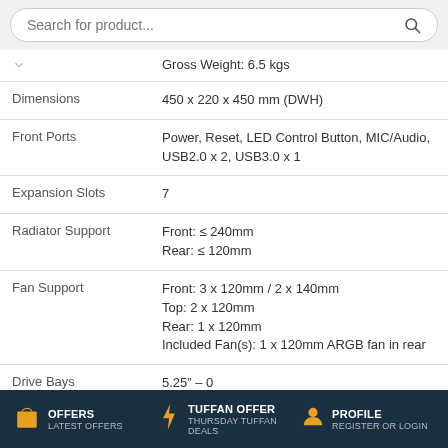Search for product...
|  | Gross Weight: 6.5 kgs |
| Dimensions | 450 x 220 x 450 mm (DWH) |
| Front Ports | Power, Reset, LED Control Button, MIC/Audio, USB2.0 x 2, USB3.0 x 1 |
| Expansion Slots | 7 |
| Radiator Support | Front: ≤ 240mm
Rear: ≤ 120mm |
| Fan Support | Front: 3 x 120mm / 2 x 140mm
Top: 2 x 120mm
Rear: 1 x 120mm
Included Fan(s): 1 x 120mm ARGB fan in rear |
| Drive Bays | 5.25" – 0
3.5"/2.5" (convertible) – 2
2.5" – 4 |
OFFERS LATEST OFFERS | TUFFAN OFFER THURSDAY TUFFAN DEALS | PROFILE REGISTER OR LOGIN